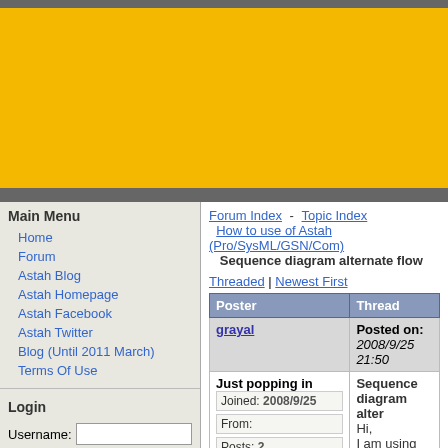Yellow banner / advertisement area
Main Menu
Home
Forum
Astah Blog
Astah Homepage
Astah Facebook
Astah Twitter
Blog (Until 2011 March)
Terms Of Use
Login
Username: [input] Password: [input] User Login Lost Password? Register now!
Forum Index - Topic Index
How to use of Astah (Pro/SysML/GSN/Com)
Sequence diagram alternate flow
Threaded | Newest First
| Poster | Thread |
| --- | --- |
| grayal | Posted on: 2008/9/25 21:50 |
| Just popping in
Joined: 2008/9/25
From:
Posts: 2 | Sequence diagram alter...
Hi,
I am using Jude Commun... diagram but I can't find th... Operation Guide has an i... box with 'alt' in the top lef...
Can anybody help me fin...
Thank you in anticipation... |
| Joba | Posted on: 2008/9/26 9:15 |
| Developer
Joined: 2006/6/6 | Re: Sequence diagram a...
Hello grayal, |